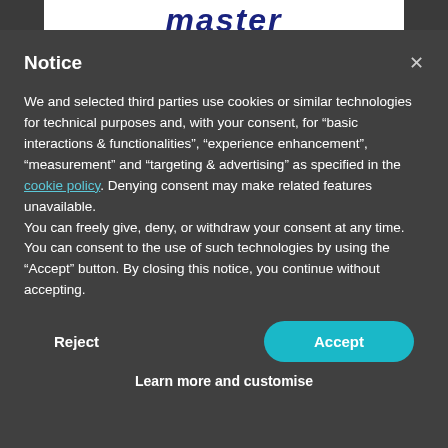[Figure (screenshot): Partially visible website banner/logo with 'master' text in dark blue italic bold font on white background]
Notice
We and selected third parties use cookies or similar technologies for technical purposes and, with your consent, for “basic interactions & functionalities”, “experience enhancement”, “measurement” and “targeting & advertising” as specified in the cookie policy. Denying consent may make related features unavailable.
You can freely give, deny, or withdraw your consent at any time.
You can consent to the use of such technologies by using the “Accept” button. By closing this notice, you continue without accepting.
Reject
Accept
Learn more and customise